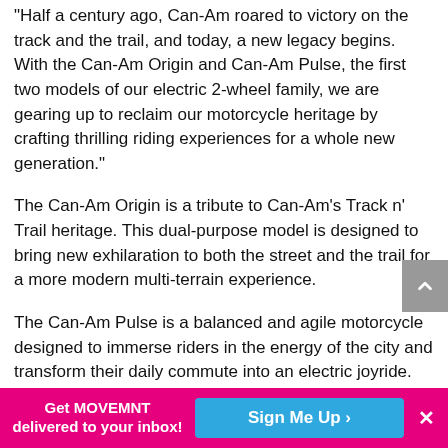“Half a century ago, Can-Am roared to victory on the track and the trail, and today, a new legacy begins. With the Can-Am Origin and Can-Am Pulse, the first two models of our electric 2-wheel family, we are gearing up to reclaim our motorcycle heritage by crafting thrilling riding experiences for a whole new generation.”
The Can-Am Origin is a tribute to Can-Am’s Track n’ Trail heritage. This dual-purpose model is designed to bring new exhilaration to both the street and the trail for a more modern multi-terrain experience.
The Can-Am Pulse is a balanced and agile motorcycle designed to immerse riders in the energy of the city and transform their daily commute into an electric joyride. Both models feature stunning, modern design, built to
Get MOVEMNT delivered to your inbox!
Sign Me Up ›